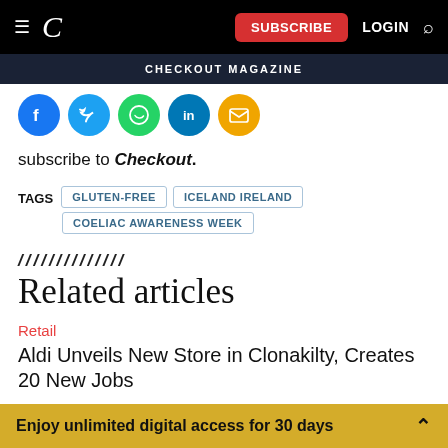C — SUBSCRIBE  LOGIN  🔍
CHECKOUT MAGAZINE
[Figure (infographic): Social sharing icons row: Facebook (blue), Twitter (light blue), WhatsApp (green), LinkedIn (dark blue), Email (gold/orange)]
subscribe to Checkout.
TAGS  GLUTEN-FREE  ICELAND IRELAND  COELIAC AWARENESS WEEK
Related articles
Retail
Aldi Unveils New Store in Clonakilty, Creates 20 New Jobs
Enjoy unlimited digital access for 30 days